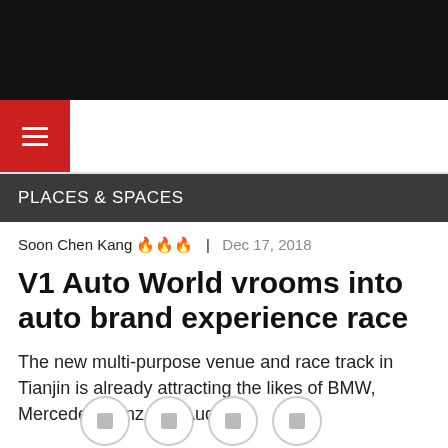PLACES & SPACES
Soon Chen Kang 🔥🔥🔥 | Dec 17, 2018
V1 Auto World vrooms into auto brand experience race
The new multi-purpose venue and race track in Tianjin is already attracting the likes of BMW, Mercedes-Benz and Audi.